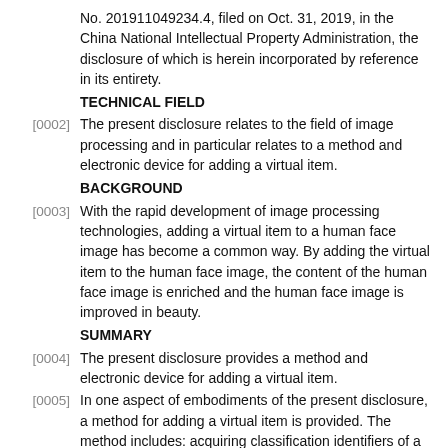No. 201911049234.4, filed on Oct. 31, 2019, in the China National Intellectual Property Administration, the disclosure of which is herein incorporated by reference in its entirety.
TECHNICAL FIELD
[0002] The present disclosure relates to the field of image processing and in particular relates to a method and electronic device for adding a virtual item.
BACKGROUND
[0003] With the rapid development of image processing technologies, adding a virtual item to a human face image has become a common way. By adding the virtual item to the human face image, the content of the human face image is enriched and the human face image is improved in beauty.
SUMMARY
[0004] The present disclosure provides a method and electronic device for adding a virtual item.
[0005] In one aspect of embodiments of the present disclosure, a method for adding a virtual item is provided. The method includes: acquiring classification identifiers of a plurality of pixel